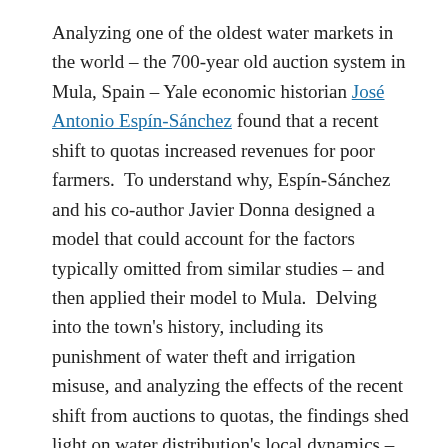Analyzing one of the oldest water markets in the world – the 700-year old auction system in Mula, Spain – Yale economic historian José Antonio Espín-Sánchez found that a recent shift to quotas increased revenues for poor farmers.  To understand why, Espín-Sánchez and his co-author Javier Donna designed a model that could account for the factors typically omitted from similar studies – and then applied their model to Mula.  Delving into the town's history, including its punishment of water theft and irrigation misuse, and analyzing the effects of the recent shift from auctions to quotas, the findings shed light on water distribution's local dynamics – and offers lessons for the future.